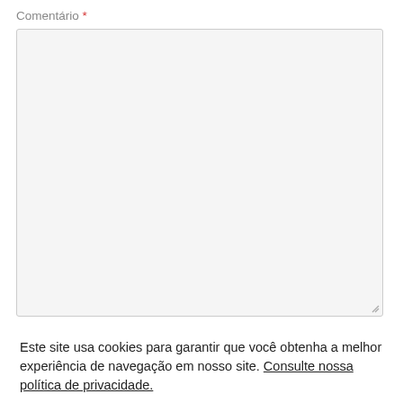Comentário *
[Figure (screenshot): Empty textarea form field with light gray background and resize handle in bottom-right corner]
Nome *
Este site usa cookies para garantir que você obtenha a melhor experiência de navegação em nosso site. Consulte nossa política de privacidade.
Aceitar e Fechar